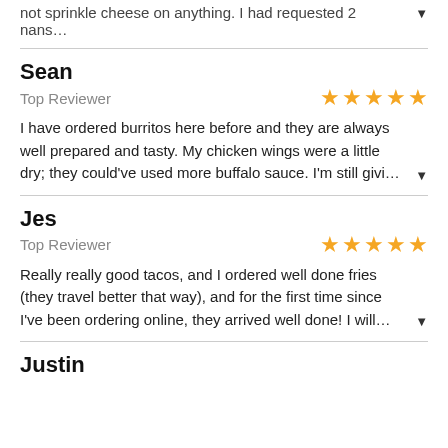not sprinkle cheese on anything. I had requested 2 nans…
Sean
Top Reviewer  ★★★★★
I have ordered burritos here before and they are always well prepared and tasty. My chicken wings were a little dry; they could've used more buffalo sauce. I'm still givi…
Jes
Top Reviewer  ★★★★★
Really really good tacos, and I ordered well done fries (they travel better that way), and for the first time since I've been ordering online, they arrived well done! I will…
Justin